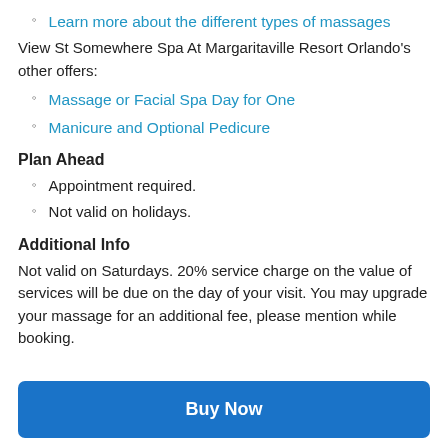Learn more about the different types of massages
View St Somewhere Spa At Margaritaville Resort Orlando's other offers:
Massage or Facial Spa Day for One
Manicure and Optional Pedicure
Plan Ahead
Appointment required.
Not valid on holidays.
Additional Info
Not valid on Saturdays. 20% service charge on the value of services will be due on the day of your visit. You may upgrade your massage for an additional fee, please mention while booking.
Fine Print
Buy Now